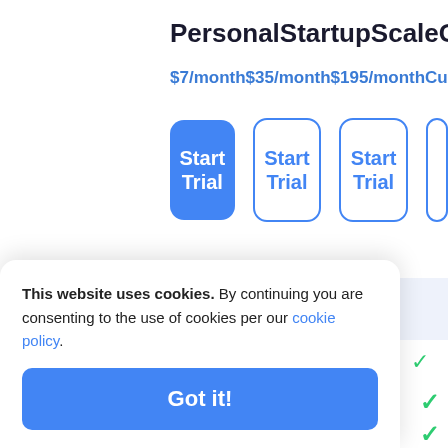Personal   Startup   Scale   G
$7/month   $35/month   $195/month   Cu
[Figure (screenshot): Pricing plan buttons row: filled blue 'Start Trial' button for Personal plan, outlined blue 'Start Trial' buttons for Startup and Scale plans, partial fourth button]
Reverse proxy
This website uses cookies. By continuing you are consenting to the use of cookies per our cookie policy.
Got it!